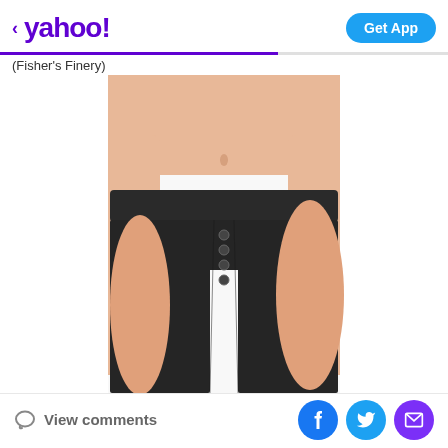yahoo! Get App
(Fisher's Finery)
[Figure (photo): Product photo of a woman wearing dark/black lounge pants with button fly detail, cropped to show waist to knee area, against white background]
View comments | Facebook share | Twitter share | Email share